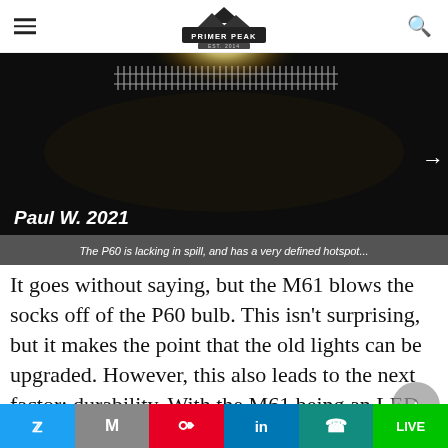PRIMER PEAK — EST. 2014
[Figure (photo): Dark nighttime photo showing a bright hotspot from a flashlight illuminating a fence or railing, very defined beam with little spill. Overlay text 'Paul W. 2021' and caption 'The P60 is lacking in spill, and has a very defined hotspot...']
The P60 is lacking in spill, and has a very defined hotspot...
It goes without saying, but the M61 blows the socks off of the P60 bulb. This isn't surprising, but it makes the point that the old lights can be upgraded. However, this also leads to the next factor: durability. With the M61 being an LED head, and made of brass construction, it will survive
Twitter | Gmail | Pinterest | LinkedIn | WhatsApp | Line